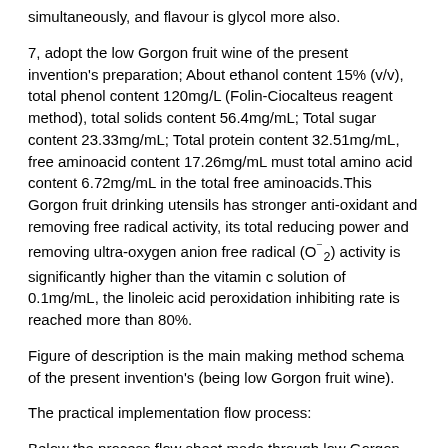simultaneously, and flavour is glycol more also.
7, adopt the low Gorgon fruit wine of the present invention's preparation; About ethanol content 15% (v/v), total phenol content 120mg/L (Folin-Ciocalteus reagent method), total solids content 56.4mg/mL; Total sugar content 23.33mg/mL; Total protein content 32.51mg/mL, free aminoacid content 17.26mg/mL must total amino acid content 6.72mg/mL in the total free aminoacids.This Gorgon fruit drinking utensils has stronger anti-oxidant and removing free radical activity, its total reducing power and removing ultra-oxygen anion free radical (O⁻₂) activity is significantly higher than the vitamin c solution of 0.1mg/mL, the linoleic acid peroxidation inhibiting rate is reached more than 80%.
Figure of description is the main making method schema of the present invention's (being low Gorgon fruit wine).
The practical implementation flow process:
Below the process flow sheet made through low Gorgon fruit fermented glutinous rice, in conjunction with brewing process, the practical implementation process of content